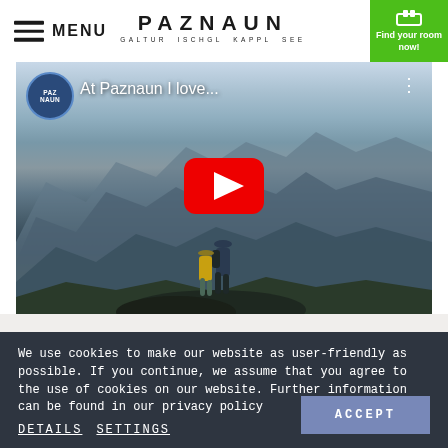MENU | PAZNAUN GALTUR ISCHGL KAPPL SEE | Find your room now!
[Figure (screenshot): YouTube video thumbnail showing a couple embracing on a mountain peak with misty mountain ranges in the background. Video title 'At Paznaun I love...' with Paznaun channel logo. Red YouTube play button in center.]
We use cookies to make our website as user-friendly as possible. If you continue, we assume that you agree to the use of cookies on our website. Further information can be found in our privacy policy
DETAILS  SETTINGS
ACCEPT